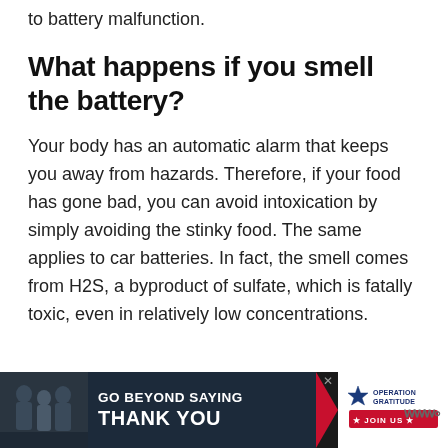to battery malfunction.
What happens if you smell the battery?
Your body has an automatic alarm that keeps you away from hazards. Therefore, if your food has gone bad, you can avoid intoxication by simply avoiding the stinky food. The same applies to car batteries. In fact, the smell comes from H2S, a byproduct of sulfate, which is fatally toxic, even in relatively low concentrations.
[Figure (infographic): Advertisement banner: 'GO BEYOND SAYING THANK YOU' with Operation Gratitude logo and JOIN US button, on dark background with photo of people.]